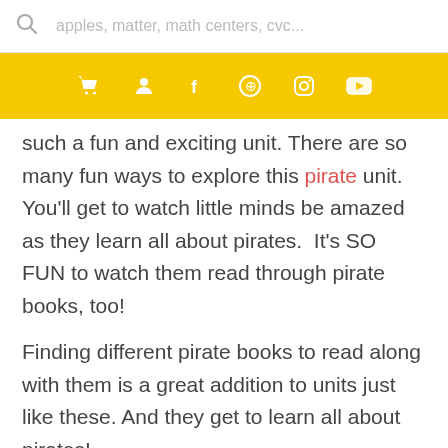apples, matter, math centers, cvc...
[Figure (screenshot): Yellow navigation bar with white icons: shopping cart, person, Facebook, Pinterest, Instagram, YouTube]
such a fun and exciting unit. There are so many fun ways to explore this pirate unit. You'll get to watch little minds be amazed as they learn all about pirates. It's SO FUN to watch them read through pirate books, too!
Finding different pirate books to read along with them is a great addition to units just like these. And they get to learn all about pirates!
[Figure (photo): Three book covers side by side: 'The Pirates Next Door', 'Pirate Pete's', and 'Pirate Boy']